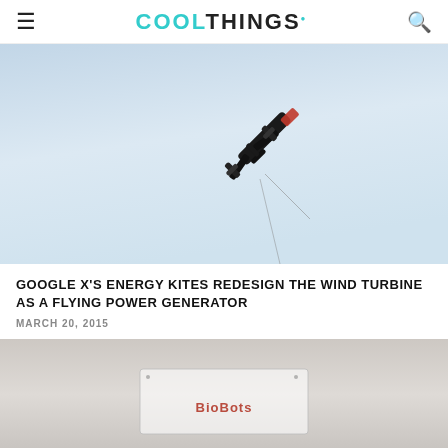COOLTHINGS
[Figure (photo): A black kite-like flying wind turbine device photographed against a pale blue sky, seen from below at an angle, with thin tethering wires visible.]
GOOGLE X'S ENERGY KITES REDESIGN THE WIND TURBINE AS A FLYING POWER GENERATOR
MARCH 20, 2015
[Figure (photo): Partial view of a BioBots device or product on a light grey/beige background, with the BioBots logo visible.]